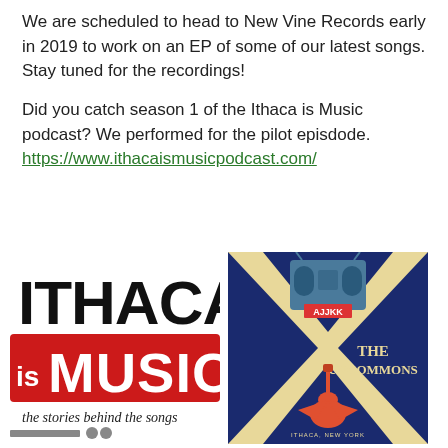We are scheduled to head to New Vine Records early in 2019 to work on an EP of some of our latest songs. Stay tuned for the recordings!
Did you catch season 1 of the Ithaca is Music podcast? We performed for the pilot episdode. https://www.ithacaismusicpodcast.com/
[Figure (logo): Ithaca is Music logo — large black text 'ITHACA' above red block with white text 'is MUSIC', tagline 'the stories behind the songs' below]
[Figure (illustration): Album/podcast cover for 'THE UNCOMMONS' by AJJKK — navy blue background with yellow X shape, boombox illustration at top with AJJKK label, red electric guitar at bottom, text 'ITHACA, NEW YORK']